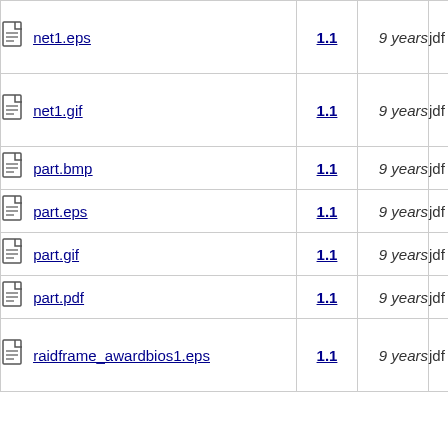| Name | Version | Age | User |
| --- | --- | --- | --- |
| net1.eps | 1.1 | 9 years | jdf |
| net1.gif | 1.1 | 9 years | jdf |
| part.bmp | 1.1 | 9 years | jdf |
| part.eps | 1.1 | 9 years | jdf |
| part.gif | 1.1 | 9 years | jdf |
| part.pdf | 1.1 | 9 years | jdf |
| raidframe_awardbios1.eps | 1.1 | 9 years | jdf |